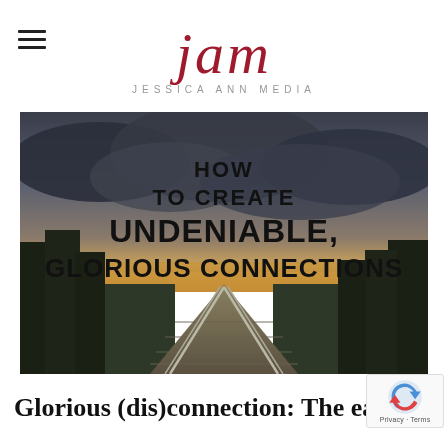jam JESSICA ANN MEDIA
[Figure (photo): A scenic boardwalk path extending into the distance at dusk, with dark storm clouds overhead and trees on either side. Overlaid text reads: HOW TO CREATE UNDENIABLE, GLORIOUS CONNECTIONS]
Glorious (dis)connection: The early